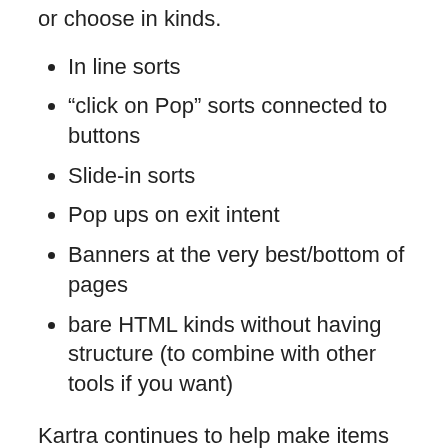or choose in kinds.
In line sorts
“click on Pop” sorts connected to buttons
Slide-in sorts
Pop ups on exit intent
Banners at the very best/bottom of pages
bare HTML kinds without having structure (to combine with other tools if you want)
Kartra continues to help make items less difficult for novice Entrepreneurs by giving templates for every of their kinds.
And when you choose your templates and make your tweaks, you’re all set to start out setting up